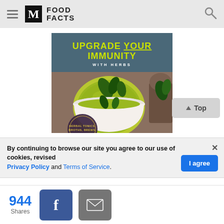M FOOD FACTS
[Figure (illustration): Book cover for 'Upgrade Your Immunity With Herbs' showing a bowl of green herbal soup with herbs and a circular badge reading 'Herbal Tonics, Broths, Brews']
By continuing to browse our site you agree to our use of cookies, revised Privacy Policy and Terms of Service.
I agree
944 Shares